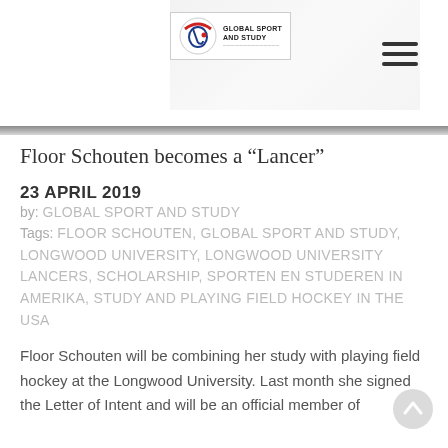Global Sport and Study - logo and navigation
Floor Schouten becomes a "Lancer"
23 APRIL 2019
by: GLOBAL SPORT AND STUDY
Tags: FLOOR SCHOUTEN, GLOBAL SPORT AND STUDY, LONGWOOD UNIVERSITY, LONGWOOD UNIVERSITY LANCERS, SCHOLARSHIP, SPORTEN EN STUDEREN IN AMERIKA, STUDY AND PLAYING FIELD HOCKEY IN THE USA
Floor Schouten will be combining her study with playing field hockey at the Longwood University. Last month she signed the Letter of Intent and will be an official member of